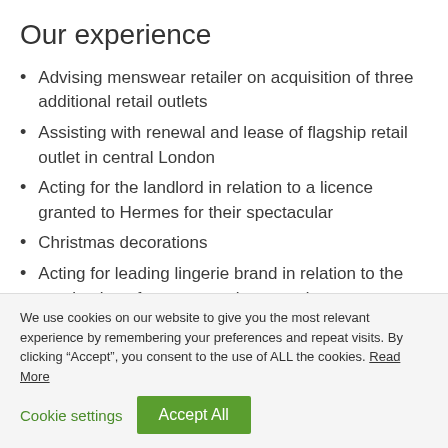Our experience
Advising menswear retailer on acquisition of three additional retail outlets
Assisting with renewal and lease of flagship retail outlet in central London
Acting for the landlord in relation to a licence granted to Hermes for their spectacular
Christmas decorations
Acting for leading lingerie brand in relation to the termination of an onerous lease and
We use cookies on our website to give you the most relevant experience by remembering your preferences and repeat visits. By clicking “Accept”, you consent to the use of ALL the cookies. Read More
Cookie settings | Accept All